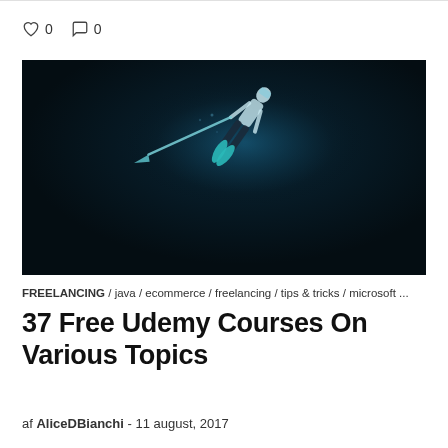0  0
[Figure (photo): Underwater photo of a freediver or spearfisher swimming diagonally downward in very dark, deep blue-black water, holding a long spear or pole, illuminated from above.]
FREELANCING / java / ecommerce / freelancing / tips & tricks / microsoft ...
37 Free Udemy Courses On Various Topics
af AliceDBianchi - 11 august, 2017